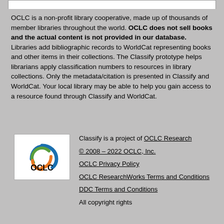OCLC is a non-profit library cooperative, made up of thousands of member libraries throughout the world. OCLC does not sell books and the actual content is not provided in our database. Libraries add bibliographic records to WorldCat representing books and other items in their collections. The Classify prototype helps librarians apply classification numbers to resources in library collections. Only the metadata/citation is presented in Classify and WorldCat. Your local library may be able to help you gain access to a resource found through Classify and WorldCat.
[Figure (logo): OCLC logo — circular blue and orange swoosh arcs above the text OCLC in black bold letters, white background]
Classify is a project of OCLC Research
© 2008 – 2022 OCLC, Inc.
OCLC Privacy Policy
OCLC ResearchWorks Terms and Conditions
DDC Terms and Conditions
All copyright rights